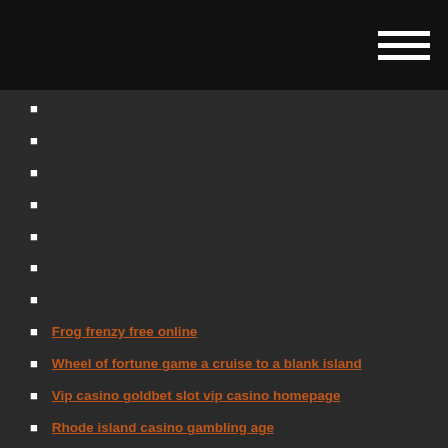Frog frenzy free online
Wheel of fortune game a cruise to a blank island
Vip casino goldbet slot vip casino homepage
Rhode island casino gambling age
Darmowe gry online poker texas holdem wp
No wagering bonuses king casino bonus
Paradise casino peoria poker room